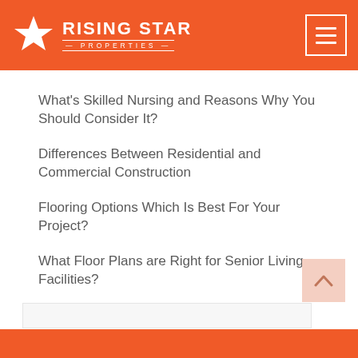Rising Star Properties
What's Skilled Nursing and Reasons Why You Should Consider It?
Differences Between Residential and Commercial Construction
Flooring Options Which Is Best For Your Project?
What Floor Plans are Right for Senior Living Facilities?